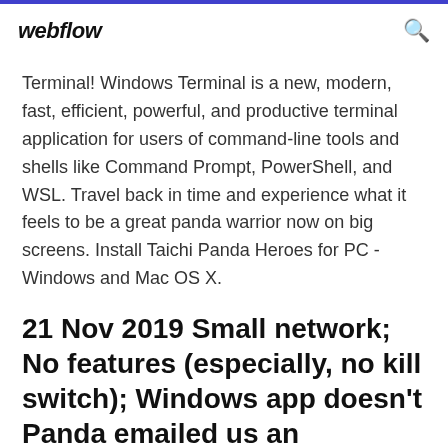webflow
Terminal! Windows Terminal is a new, modern, fast, efficient, powerful, and productive terminal application for users of command-line tools and shells like Command Prompt, PowerShell, and WSL. Travel back in time and experience what it feels to be a great panda warrior now on big screens. Install Taichi Panda Heroes for PC - Windows and Mac OS X.
21 Nov 2019 Small network; No features (especially, no kill switch); Windows app doesn't Panda emailed us an activation code and a download link